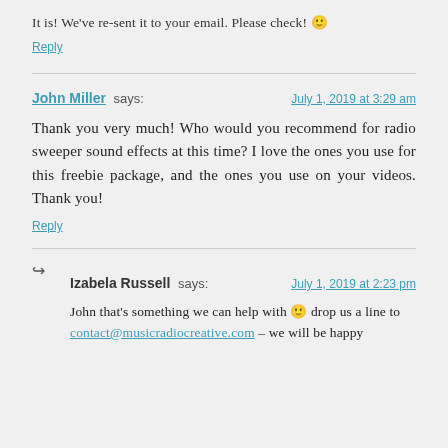It is! We've re-sent it to your email. Please check! 🙂
Reply
John Miller says:
July 1, 2019 at 3:29 am
Thank you very much! Who would you recommend for radio sweeper sound effects at this time? I love the ones you use for this freebie package, and the ones you use on your videos. Thank you!
Reply
Izabela Russell says:
July 1, 2019 at 2:23 pm
John that's something we can help with 🙂 drop us a line to contact@musicradiocreative.com – we will be happy